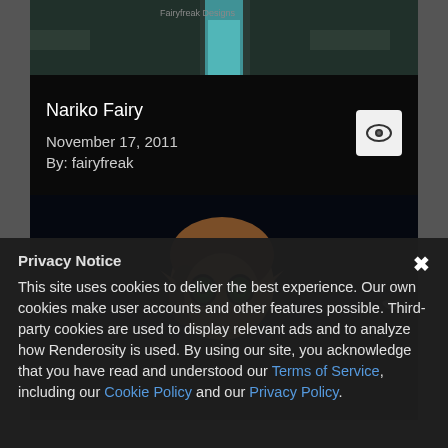[Figure (photo): Top strip of a 3D rendered dark scene with fairy character]
Nariko Fairy
November 17, 2011
By: fairyfreak
[Figure (photo): 3D rendered fairy character with brown hair, green eyes, and dark wings against a black background]
Privacy Notice
This site uses cookies to deliver the best experience. Our own cookies make user accounts and other features possible. Third-party cookies are used to display relevant ads and to analyze how Renderosity is used. By using our site, you acknowledge that you have read and understood our Terms of Service, including our Cookie Policy and our Privacy Policy.